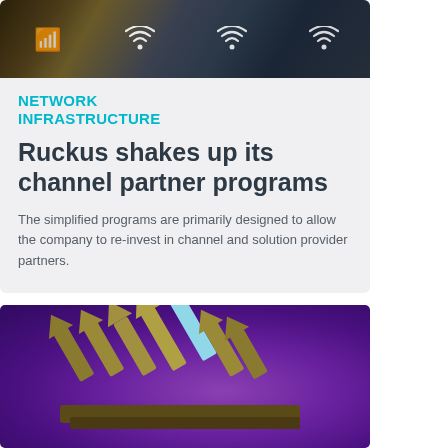[Figure (photo): Dark hero image showing network/WiFi infrastructure with WiFi symbols overlaid on a cityscape background]
NETWORK INFRASTRUCTURE
Ruckus shakes up its channel partner programs
The simplified programs are primarily designed to allow the company to re-invest in channel and solution provider partners.
[Figure (photo): Purple background with 3D golden and light blue upward arrows arranged in a cluster, suggesting growth and direction]